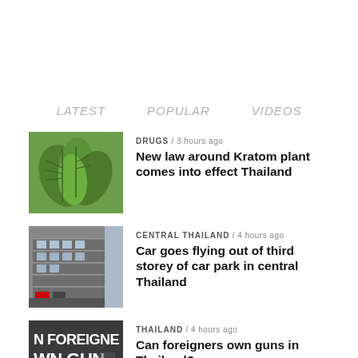LATEST   POPULAR   VIDEOS
[Figure (photo): Close-up photo of green Kratom leaves]
DRUGS / 3 hours ago
New law around Kratom plant comes into effect Thailand
[Figure (photo): Multi-storey car park building with cars]
CENTRAL THAILAND / 4 hours ago
Car goes flying out of third storey of car park in central Thailand
[Figure (photo): Sign reading N FOREIGNE WN GUN THAILAN]
THAILAND / 4 hours ago
Can foreigners own guns in Thailand?